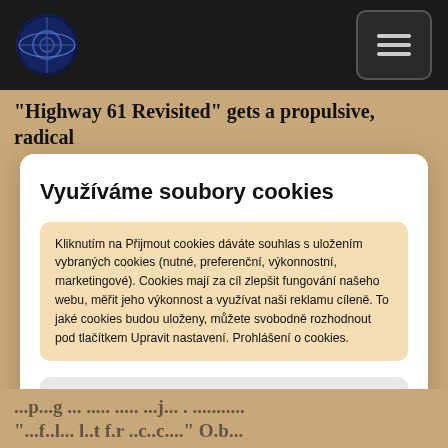Navigation bar with logo and hamburger menu
“Highway 61 Revisited” gets a propulsive, radical
Využíváme soubory cookies
Kliknutím na Přijmout cookies dáváte souhlas s uložením vybraných cookies (nutné, preferenční, výkonnostní, marketingové). Cookies mají za cíl zlepšit fungování našeho webu, měřit jeho výkonnost a využívat naši reklamu cíleně. To jaké cookies budou uloženy, můžete svobodně rozhodnout pod tlačítkem Upravit nastavení. Prohlášení o cookies.
Upravit nastavení
Přijmout cookies
...